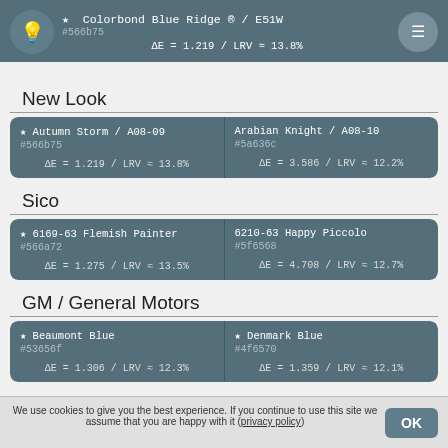★ Colorbond Blue Ridge ® / E51W  #566b75  ΔE = 1.219 / LRV ≈ 13.8%
New Look
| Color 1 | Color 2 |
| --- | --- |
| ★ Autumn Storm / A08-09
#566b75
ΔE = 1.219 / LRV ≈ 13.8% | Arabian Knight / A08-10
#5a636c
ΔE = 3.586 / LRV ≈ 12.2% |
Sico
| Color 1 | Color 2 |
| --- | --- |
| ★ 6169-63 Flemish Painter
#566a72
ΔE = 1.275 / LRV ≈ 13.5% | 6210-63 Happy Piccolo
#5f6568
ΔE = 4.708 / LRV ≈ 12.7% |
GM / General Motors
| Color 1 | Color 2 |
| --- | --- |
| ★ Beaumont Blue
#53656f
ΔE = 1.306 / LRV ≈ 12.3% | ★ Denmark Blue
#4f6570
ΔE = 1.359 / LRV ≈ 12.1% |
We use cookies to give you the best experience. If you continue to use this site we assume that you are happy with it (privacy policy)